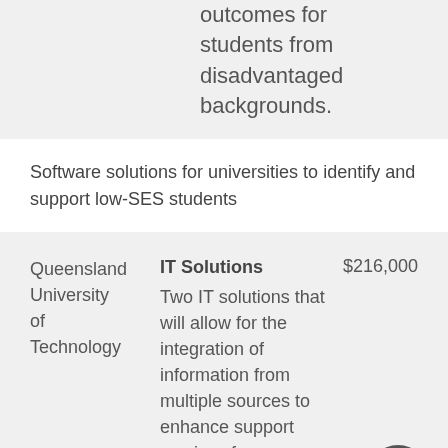outcomes for students from disadvantaged backgrounds.
Software solutions for universities to identify and support low-SES students
| Institution | Project | Amount |
| --- | --- | --- |
| Queensland University of Technology | IT Solutions
Two IT solutions that will allow for the integration of information from multiple sources to enhance support services for disadvantaged students. | $216,000 |